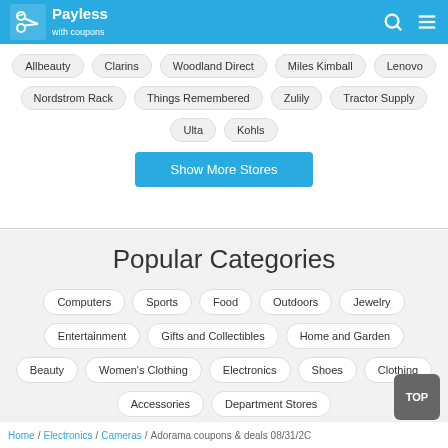Payless with coupons
Allbeauty
Clarins
Woodland Direct
Miles Kimball
Lenovo
Nordstrom Rack
Things Remembered
Zulily
Tractor Supply
Ulta
Kohls
Show More Stores
Popular Categories
Computers
Sports
Food
Outdoors
Jewelry
Entertainment
Gifts and Collectibles
Home and Garden
Beauty
Women's Clothing
Electronics
Shoes
Clothing
Accessories
Department Stores
Home / Electronics / Cameras / Adorama coupons & deals 08/31/2C